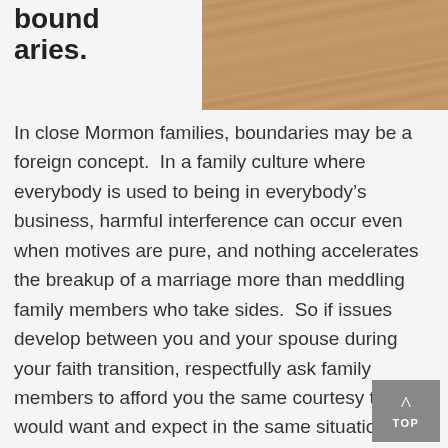boundaries.
[Figure (photo): Close-up photo of wood grain texture with warm brown tones]
In close Mormon families, boundaries may be a foreign concept.  In a family culture where everybody is used to being in everybody’s business, harmful interference can occur even when motives are pure, and nothing accelerates the breakup of a marriage more than meddling family members who take sides.  So if issues develop between you and your spouse during your faith transition, respectfully ask family members to afford you the same courtesy they would want and expect in the same situation: to leave marital issues to the married couple to resolve.